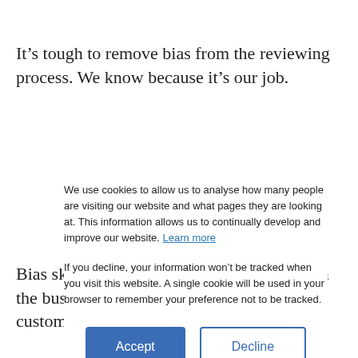It’s tough to remove bias from the reviewing process. We know because it’s our job.
Bias skews the data, which is unfair for both the business being reviewed and the customers
We use cookies to allow us to analyse how many people are visiting our website and what pages they are looking at. This information allows us to continually develop and improve our website. Learn more
If you decline, your information won’t be tracked when you visit this website. A single cookie will be used in your browser to remember your preference not to be tracked.